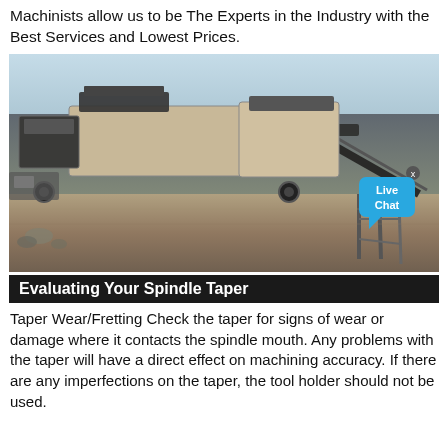Machinists allow us to be The Experts in the Industry with the Best Services and Lowest Prices.
[Figure (photo): Photograph of a large industrial mobile crushing/screening machine on an open dirt site with a blue sky background. A 'Live Chat' speech bubble overlay appears in the lower right corner.]
Evaluating Your Spindle Taper
Taper Wear/Fretting Check the taper for signs of wear or damage where it contacts the spindle mouth. Any problems with the taper will have a direct effect on machining accuracy. If there are any imperfections on the taper, the tool holder should not be used.